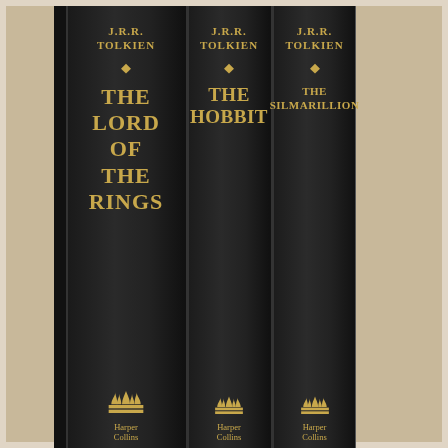[Figure (photo): Three black hardcover book spines of J.R.R. Tolkien works published by HarperCollins, standing upright against a wooden background. Left to right: 'The Lord of the Rings', 'The Hobbit', 'The Silmarillion'. Each spine shows the author name 'J.R.R. Tolkien', a diamond ornament, the book title, and the HarperCollins flame logo at the bottom, all in gold lettering on black.]